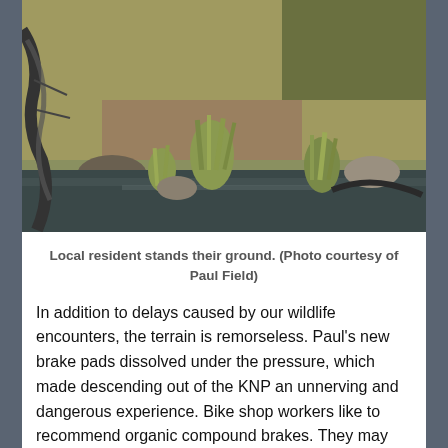[Figure (photo): Outdoor photo showing a bicycle wheel on the left partially submerged in a shallow stream or wet trail crossing, with green-yellow tufts of grass growing in clumps in the water, dry brownish grass and shrubs in the background, rocks visible, and a sunny day setting.]
Local resident stands their ground. (Photo courtesy of Paul Field)
In addition to delays caused by our wildlife encounters, the terrain is remorseless. Paul's new brake pads dissolved under the pressure, which made descending out of the KNP an unnerving and dangerous experience. Bike shop workers like to recommend organic compound brakes. They may